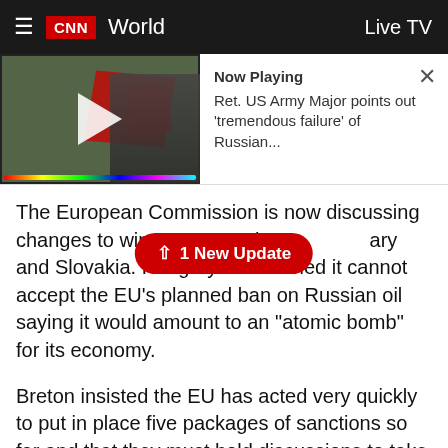CNN World — Live TV
[Figure (screenshot): CNN video thumbnail showing a man in a suit in front of a map with red areas, with a play button overlay. 'Now Playing' label with text: Ret. US Army Major points out 'tremendous failure' of Russian... and a close (X) button.]
The European Commission is now discussing changes to win over countries like Hungary and Slovakia. Hungary has warned it cannot accept the EU's planned ban on Russian oil saying it would amount to an "atomic bomb" for its economy.
↑ 1 New Update
Breton insisted the EU has acted very quickly to put in place five packages of sanctions so far and that they must hold discussions to take care of everyone.
"We have two countries which are 100% dependent on oil, Russian oil, so we have to take care of them. In other words, if we apply those sanctions...